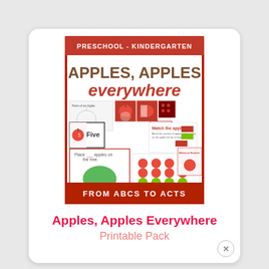[Figure (illustration): Cover image for 'Apples, Apples Everywhere' preschool-kindergarten printable pack by From ABCs to ACTs, showing apple-themed educational activity worksheets including parts of an apple, number cards, matching activities, and counting exercises with apple illustrations.]
Apples, Apples Everywhere
Printable Pack